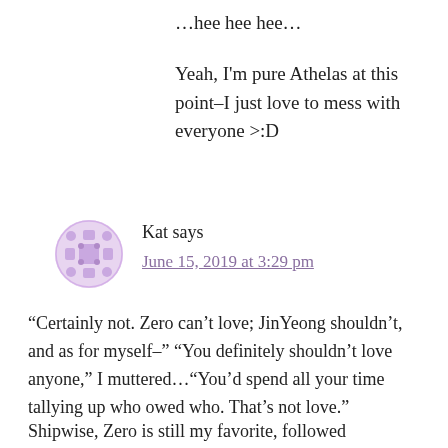…hee hee hee…
Yeah, I'm pure Athelas at this point–I just love to mess with everyone >:D
[Figure (illustration): Avatar icon: pink/lavender decorative tile pattern in a circle]
Kat says
June 15, 2019 at 3:29 pm
“Certainly not. Zero can’t love; JinYeong shouldn’t, and as for myself–” “You definitely shouldn’t love anyone,” I muttered…“You’d spend all your time tallying up who owed who. That’s not love.”
Shipwise, Zero is still my favorite, followed